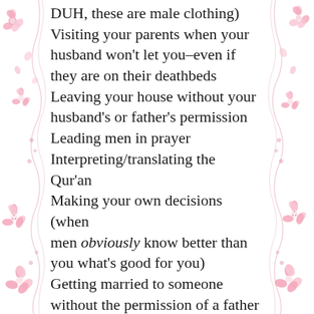[Figure (illustration): Decorative pink floral border on left and right sides of the page with scrollwork and cherry blossom flowers]
DUH, these are male clothing) Visiting your parents when your husband won't let you–even if they are on their deathbeds Leaving your house without your husband's or father's permission Leading men in prayer Interpreting/translating the Qur'an Making your own decisions (when men obviously know better than you what's good for you) Getting married to someone without the permission of a father or another Muslim male guardian